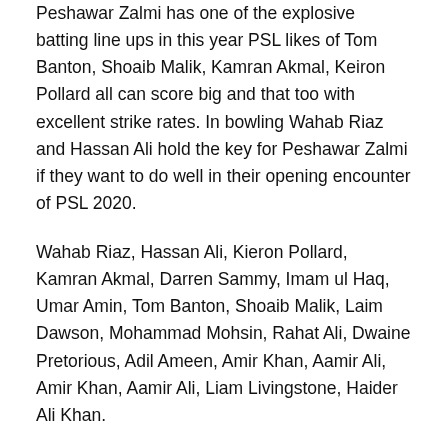Peshawar Zalmi has one of the explosive batting line ups in this year PSL likes of Tom Banton, Shoaib Malik, Kamran Akmal, Keiron Pollard all can score big and that too with excellent strike rates. In bowling Wahab Riaz and Hassan Ali hold the key for Peshawar Zalmi if they want to do well in their opening encounter of PSL 2020.
Wahab Riaz, Hassan Ali, Kieron Pollard, Kamran Akmal, Darren Sammy, Imam ul Haq, Umar Amin, Tom Banton, Shoaib Malik, Laim Dawson, Mohammad Mohsin, Rahat Ali, Dwaine Pretorious, Adil Ameen, Amir Khan, Aamir Ali, Amir Khan, Aamir Ali, Liam Livingstone, Haider Ali Khan.
karachi kings squad
Babar Azam, Alex Hales, Sharjeel Khan can destroy any opposition on given day with their batting talent. Mohammad Amir, Umaid Asif and Umer Khan will be responsible for better performance of Karachi Kings